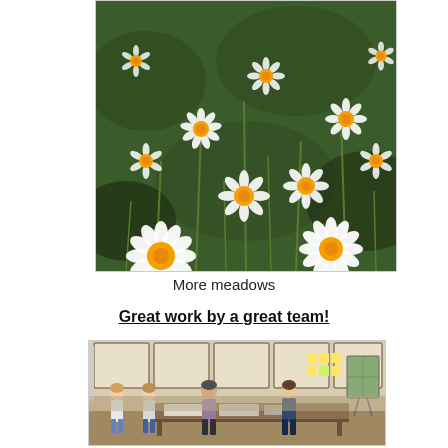[Figure (photo): A field of white daisy flowers with yellow centers, seen from above, densely filling the frame with green stems and foliage.]
More meadows
Great work by a great team!
[Figure (photo): Indoor photo of a team meeting room with four people standing around a table covered with documents and materials; sticky notes on a glass wall and a map on an easel are visible.]